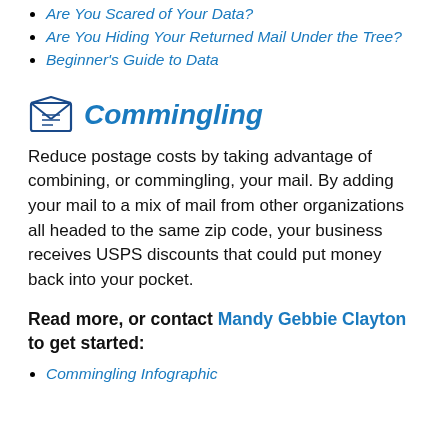Are You Scared of Your Data?
Are You Hiding Your Returned Mail Under the Tree?
Beginner's Guide to Data
Commingling
Reduce postage costs by taking advantage of combining, or commingling, your mail. By adding your mail to a mix of mail from other organizations all headed to the same zip code, your business receives USPS discounts that could put money back into your pocket.
Read more, or contact Mandy Gebbie Clayton to get started:
Commingling Infographic